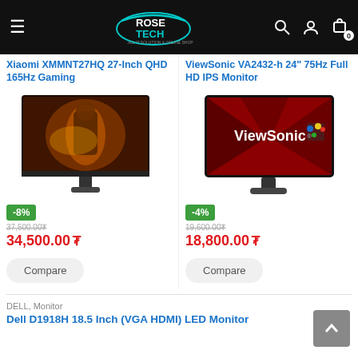[Figure (screenshot): RoseTech navigation bar with hamburger menu, logo, search, user, and cart icons]
Xiaomi XMMNT27HQ 27-Inch QHD 165Hz Gaming
[Figure (photo): Xiaomi gaming monitor with warrior game art on screen]
-8%
37,500.00 (strikethrough)
34,500.00
Compare
ViewSonic VA2432-h 24" 75Hz Full HD IPS Monitor
[Figure (photo): ViewSonic VA2432-h monitor with red background ViewSonic logo]
-4%
19,600.00 (strikethrough)
18,800.00
Compare
DELL, Monitor
Dell D1918H 18.5 Inch (VGA HDMI) LED Monitor